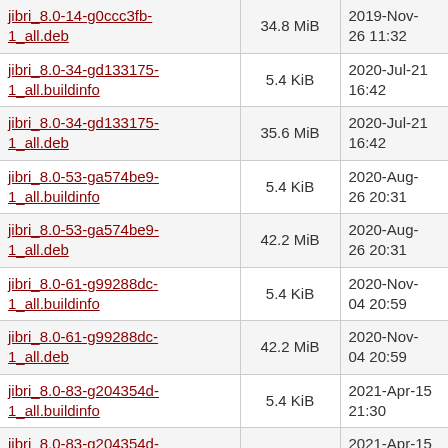| Name | Size | Date |
| --- | --- | --- |
| jibri_8.0-14-g0ccc3fb-1_all.deb | 34.8 MiB | 2019-Nov-26 11:32 |
| jibri_8.0-34-gd133175-1_all.buildinfo | 5.4 KiB | 2020-Jul-21 16:42 |
| jibri_8.0-34-gd133175-1_all.deb | 35.6 MiB | 2020-Jul-21 16:42 |
| jibri_8.0-53-ga574be9-1_all.buildinfo | 5.4 KiB | 2020-Aug-26 20:31 |
| jibri_8.0-53-ga574be9-1_all.deb | 42.2 MiB | 2020-Aug-26 20:31 |
| jibri_8.0-61-g99288dc-1_all.buildinfo | 5.4 KiB | 2020-Nov-04 20:59 |
| jibri_8.0-61-g99288dc-1_all.deb | 42.2 MiB | 2020-Nov-04 20:59 |
| jibri_8.0-83-g204354d-1_all.buildinfo | 5.4 KiB | 2021-Apr-15 21:30 |
| jibri_8.0-83-g204354d-1_all.deb | 42.6 MiB | 2021-Apr-15 21:30 |
| jibri_8.0-93-g51fe7a2-1_all.buildinfo | 5.4 KiB | 2021-May-14 11:54 |
| jibri_8.0-93-g51fe7a2-1_all.deb | 42.6 MiB | 2021-May-14 11:54 |